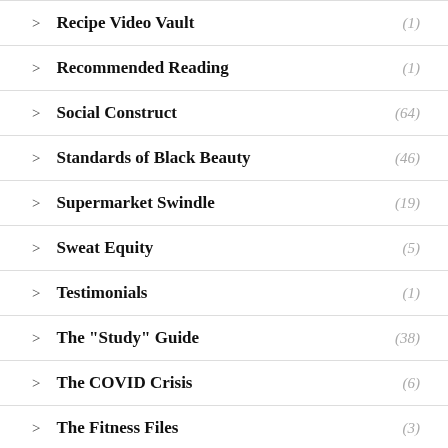Recipe Video Vault (1)
Recommended Reading (1)
Social Construct (64)
Standards of Black Beauty (46)
Supermarket Swindle (19)
Sweat Equity (5)
Testimonials (1)
The "Study" Guide (38)
The COVID Crisis (6)
The Fitness Files (3)